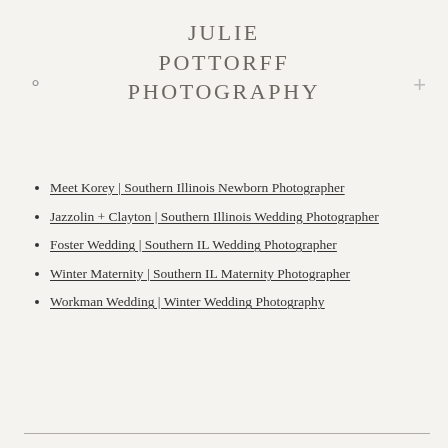JULIE POTTORFF PHOTOGRAPHY
Meet Korey | Southern Illinois Newborn Photographer
Jazzolin + Clayton | Southern Illinois Wedding Photographer
Foster Wedding | Southern IL Wedding Photographer
Winter Maternity | Southern IL Maternity Photographer
Workman Wedding | Winter Wedding Photography